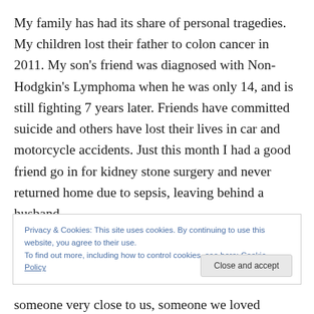My family has had its share of personal tragedies. My children lost their father to colon cancer in 2011. My son's friend was diagnosed with Non-Hodgkin's Lymphoma when he was only 14, and is still fighting 7 years later. Friends have committed suicide and others have lost their lives in car and motorcycle accidents. Just this month I had a good friend go in for kidney stone surgery and never returned home due to sepsis, leaving behind a husband
Privacy & Cookies: This site uses cookies. By continuing to use this website, you agree to their use.
To find out more, including how to control cookies, see here: Cookie Policy
someone very close to us, someone we loved dearly, a